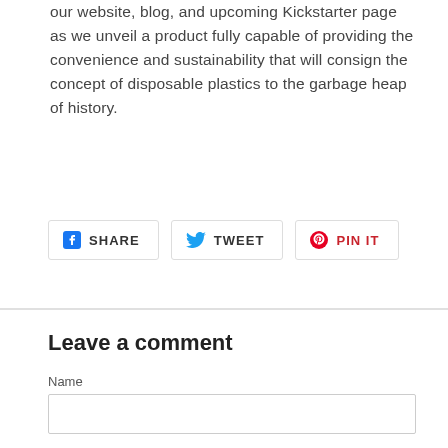our website, blog, and upcoming Kickstarter page as we unveil a product fully capable of providing the convenience and sustainability that will consign the concept of disposable plastics to the garbage heap of history.
[Figure (other): Social share buttons: SHARE (Facebook), TWEET (Twitter), PIN IT (Pinterest)]
Leave a comment
Name
Email